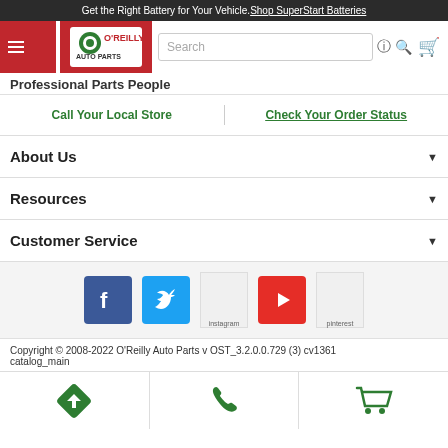Get the Right Battery for Your Vehicle. Shop SuperStart Batteries
[Figure (logo): O'Reilly Auto Parts logo with navigation bar, search bar, and cart icon]
Professional Parts People
Call Your Local Store | Check Your Order Status
About Us
Resources
Customer Service
[Figure (other): Social media icons: Facebook, Twitter, Instagram, YouTube, Pinterest]
Copyright © 2008-2022 O'Reilly Auto Parts v OST_3.2.0.0.729 (3) cv1361 catalog_main
[Figure (other): Mobile bottom navigation bar with directions, phone, and cart icons]